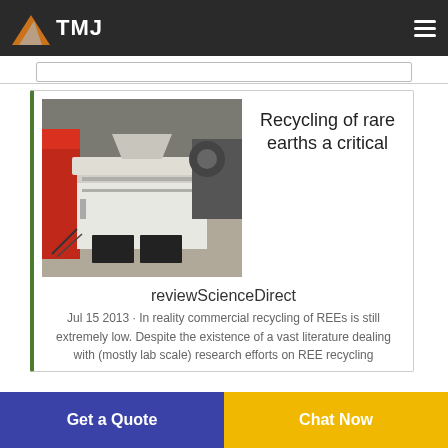TMJ
[Figure (photo): Industrial white machinery/separator equipment in a factory setting with red machinery and warehouse background]
Recycling of rare earths a critical
reviewScienceDirect
Jul 15 2013 · In reality commercial recycling of REEs is still extremely low. Despite the existence of a vast literature dealing with (mostly lab scale) research efforts on REE recycling
Get a Quote  Chat Now